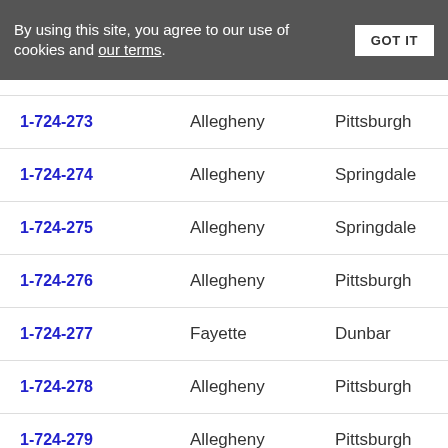By using this site, you agree to our use of cookies and our terms.
| Code | County | City |  |
| --- | --- | --- | --- |
| 1-724-273 | Allegheny | Pittsburgh |  |
| 1-724-274 | Allegheny | Springdale |  |
| 1-724-275 | Allegheny | Springdale |  |
| 1-724-276 | Allegheny | Pittsburgh |  |
| 1-724-277 | Fayette | Dunbar |  |
| 1-724-278 | Allegheny | Pittsburgh |  |
| 1-724-279 | Allegheny | Pittsburgh |  |
| 1-724-280 | Allegheny | Pittsburgh |  |
| 1-724-281 | Allegheny | Pittsburgh |  |